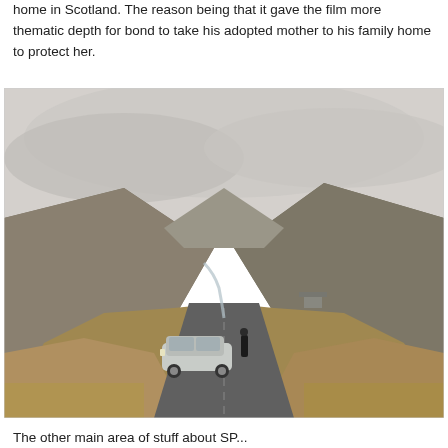home in Scotland. The reason being that it gave the film more thematic depth for bond to take his adopted mother to his family home to protect her.
[Figure (photo): A Scottish highland landscape with a misty mountain valley. A silver classic car (Aston Martin DB5) is parked on a road with a man in a suit standing nearby. Rolling brown hills and low clouds fill the background.]
The other main area of stuff about SP...